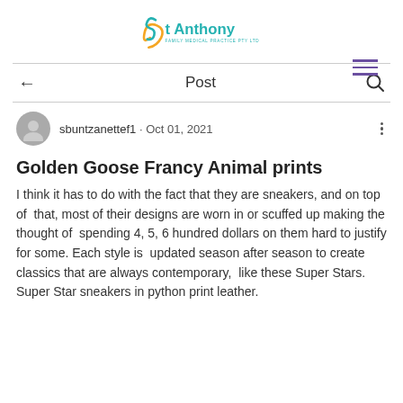[Figure (logo): St Anthony Family Medical Practice PTY LTD logo with teal text and orange swirl graphic]
[Figure (other): Hamburger menu icon with three horizontal lines in purple]
[Figure (other): Navigation bar with back arrow, 'Post' label, and search icon]
[Figure (other): Author avatar circle (grey user silhouette)]
sbuntzanettef1 · Oct 01, 2021
Golden Goose Francy Animal prints
I think it has to do with the fact that they are sneakers, and on top of  that, most of their designs are worn in or scuffed up making the thought of  spending 4, 5, 6 hundred dollars on them hard to justify for some. Each style is  updated season after season to create classics that are always contemporary,  like these Super Stars. Super Star sneakers in python print leather.